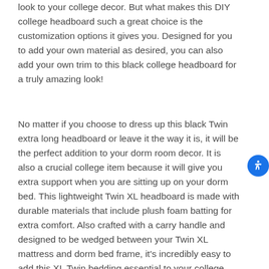look to your college decor. But what makes this DIY college headboard such a great choice is the customization options it gives you. Designed for you to add your own material as desired, you can also add your own trim to this black college headboard for a truly amazing look!
No matter if you choose to dress up this black Twin extra long headboard or leave it the way it is, it will be the perfect addition to your dorm room decor. It is also a crucial college item because it will give you extra support when you are sitting up on your dorm bed. This lightweight Twin XL headboard is made with durable materials that include plush foam batting for extra comfort. Also crafted with a carry handle and designed to be wedged between your Twin XL mattress and dorm bed frame, it's incredibly easy to add this XL Twin bedding essential to your college dorm! This black college dorm headboard will easily add to the comfort and style of your dorm bed, which